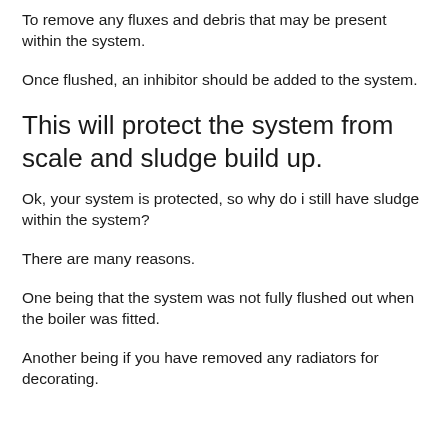To remove any fluxes and debris that may be present within the system.
Once flushed, an inhibitor should be added to the system.
This will protect the system from scale and sludge build up.
Ok, your system is protected, so why do i still have sludge within the system?
There are many reasons.
One being that the system was not fully flushed out when the boiler was fitted.
Another being if you have removed any radiators for decorating.